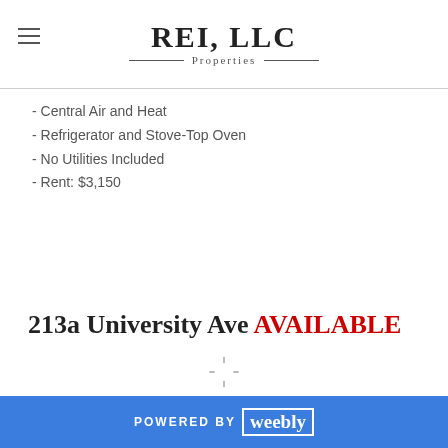REI, LLC Properties
- Central Air and Heat
- Refrigerator and Stove-Top Oven
- No Utilities Included
- Rent: $3,150
213a University Ave AVAILABLE
POWERED BY weebly